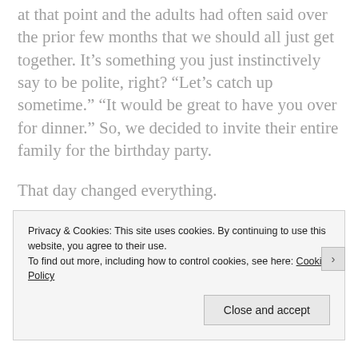at that point and the adults had often said over the prior few months that we should all just get together. It’s something you just instinctively say to be polite, right? “Let’s catch up sometime.” “It would be great to have you over for dinner.” So, we decided to invite their entire family for the birthday party.
That day changed everything.
Stacy and Allissa just clicked. They connected immediately. If you ask anyone who was at that party, they all assumed that those two had known each other for years. They had so much to talk about. I was
Privacy & Cookies: This site uses cookies. By continuing to use this website, you agree to their use.
To find out more, including how to control cookies, see here: Cookie Policy
Close and accept